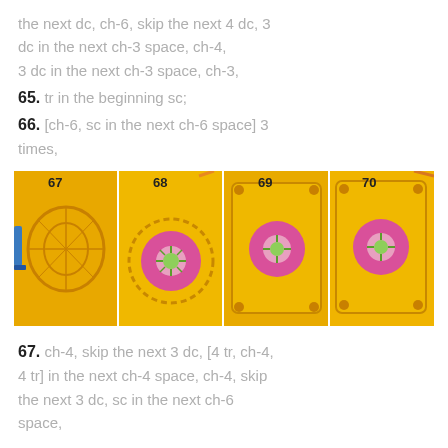the next dc, ch-6, skip the next 4 dc, 3 dc in the next ch-3 space, ch-4, 3 dc in the next ch-3 space, ch-3,
65. tr in the beginning sc;
66. [ch-6, sc in the next ch-6 space] 3 times,
[Figure (photo): Four-panel photo strip showing crochet steps 67, 68, 69, 70. Yellow crochet square being assembled: step 67 shows open lacy structure with blue hook, step 68 shows pink flower center with green star, step 69 shows completed yellow square with pink and green center, step 70 shows finished yellow granny square with pink and green flower center.]
67. ch-4, skip the next 3 dc, [4 tr, ch-4, 4 tr] in the next ch-4 space, ch-4, skip the next 3 dc, sc in the next ch-6 space,